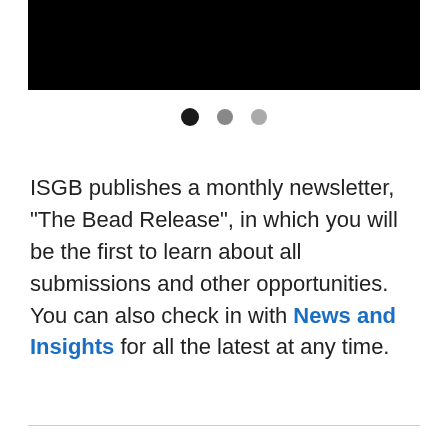[Figure (photo): Black rectangular banner image at the top of the page]
[Figure (infographic): Three pagination dots: one filled black, one medium gray, one light gray]
ISGB publishes a monthly newsletter, "The Bead Release", in which you will be the first to learn about all submissions and other opportunities.  You can also check in with News and Insights for all the latest at any time.